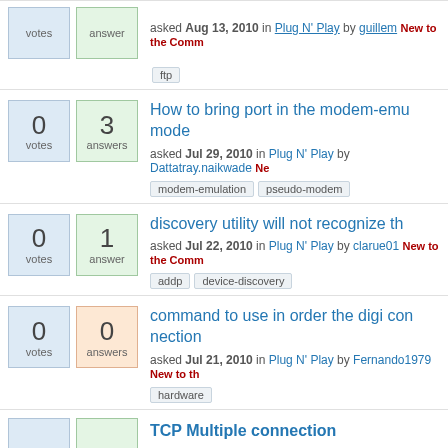asked Aug 13, 2010 in Plug N' Play by guillem New to the Comm
ftp
How to bring port in the modem-emu mode
asked Jul 29, 2010 in Plug N' Play by Dattatray.naikwade Ne
modem-emulation  pseudo-modem
discovery utility will not recognize th
asked Jul 22, 2010 in Plug N' Play by clarue01 New to the Comm
addp  device-discovery
command to use in order the digi connection
asked Jul 21, 2010 in Plug N' Play by Fernando1979 New to th
hardware
TCP Multiple connection